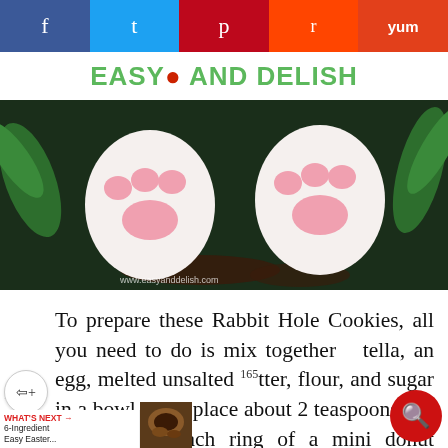Easy And Delish
[Figure (photo): Rabbit hole cookies shaped like bunny paws — white oval cookies with pink paw pad markings, surrounded by green herbs and dark crumbles, with www.easyanddelish.com watermark]
To prepare these Rabbit Hole Cookies, all you need to do is mix together Nutella, an egg, melted unsalted butter, flour, and sugar in a bowl. Then place about 2 teaspoons of the mixture into each ring of a mini donut baking pan, bake for about 8